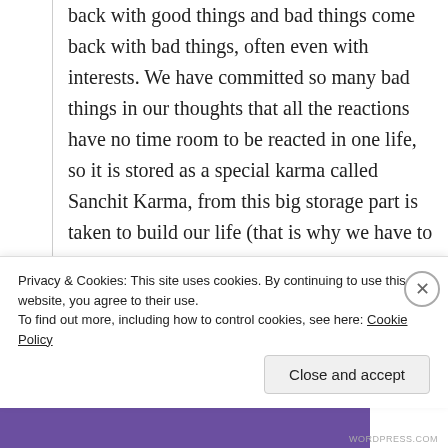back with good things and bad things come back with bad things, often even with interests. We have committed so many bad things in our thoughts that all the reactions have no time room to be reacted in one life, so it is stored as a special karma called Sanchit Karma, from this big storage part is taken to build our life (that is why we have to go through joy and sorrow, happiness and sadness in our life – as a reaction of the past) – this karma is called Pralabdha karma and then there is a karma type that blooms in the very near future (smaller
Privacy & Cookies: This site uses cookies. By continuing to use this website, you agree to their use.
To find out more, including how to control cookies, see here: Cookie Policy
Close and accept